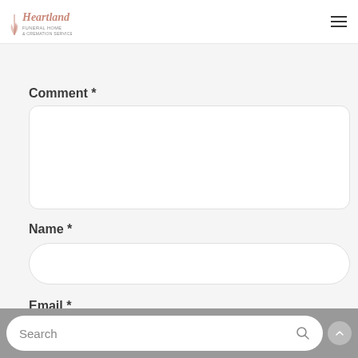[Figure (logo): Heartland Funeral Home & Cremation Services logo with wheat/grain graphic]
py
Comment *
Name *
Email *
Search